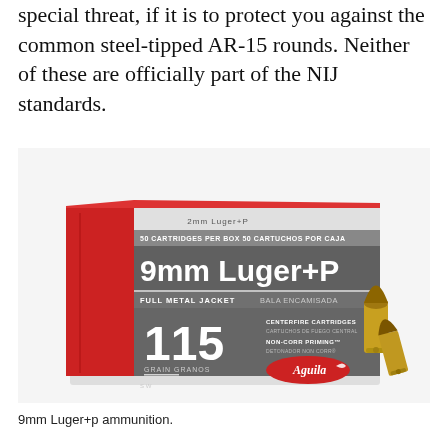special threat, if it is to protect you against the common steel-tipped AR-15 rounds. Neither of these are officially part of the NIJ standards.
[Figure (photo): Box of Aguila 9mm Luger+P Full Metal Jacket 115 grain ammunition, 50 cartridges per box, with two loose 9mm bullets displayed beside the box.]
9mm Luger+p ammunition.